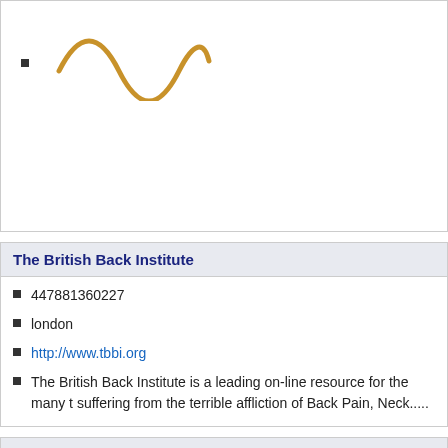[Figure (logo): Golden/amber colored wave/sine logo mark]
The British Back Institute
447881360227
london
http://www.tbbi.org
The British Back Institute is a leading on-line resource for the many t suffering from the terrible affliction of Back Pain, Neck.....
Dynamic Osteopaths
0796 6317712
warwickshire
http://www.dynamicosteopaths.com
Highly experienced registered osteopaths providing comprehensive treatments out of Solihull and Warwickshire areas. Mr Adam Whatle